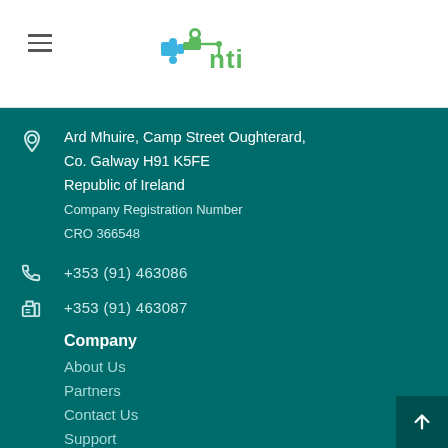NTI logo and navigation hamburger menu
[Figure (logo): NTI company logo with blue and green puzzle/network graphic and green 'nti' text]
Ard Mhuire, Camp Street Oughterard, Co. Galway H91 K5FE Republic of Ireland Company Registration Number CRO 366548
+353 (91) 463086
+353 (91) 463087
Company
About Us
Partners
Contact Us
Support